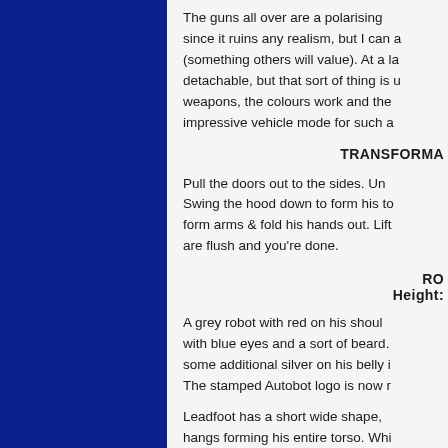The guns all over are a polarising since it ruins any realism, but I can a (something others will value). At a la detachable, but that sort of thing is u weapons, the colours work and the impressive vehicle mode for such a
TRANSFORMA
Pull the doors out to the sides. Un Swing the hood down to form his to form arms & fold his hands out. Lift are flush and you're done.
RO Height:
A grey robot with red on his shoul with blue eyes and a sort of beard. some additional silver on his belly i The stamped Autobot logo is now r
Leadfoot has a short wide shape, hangs forming his entire torso. Whi